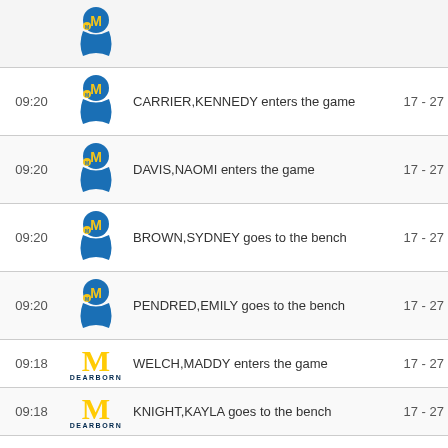| Time | Team | Event | Score |
| --- | --- | --- | --- |
|  | Morehead |  |  |
| 09:20 | Morehead | CARRIER,KENNEDY enters the game | 17 - 27 |
| 09:20 | Morehead | DAVIS,NAOMI enters the game | 17 - 27 |
| 09:20 | Morehead | BROWN,SYDNEY goes to the bench | 17 - 27 |
| 09:20 | Morehead | PENDRED,EMILY goes to the bench | 17 - 27 |
| 09:18 | Michigan Dearborn | WELCH,MADDY enters the game | 17 - 27 |
| 09:18 | Michigan Dearborn | KNIGHT,KAYLA goes to the bench | 17 - 27 |
| 09:16 | Michigan Dearborn | Turnover by WELLS,RO'ZHANE | 17 - 27 |
| 09:15 | Morehead | Steal by AHO,MEGAN | 17 - 27 |